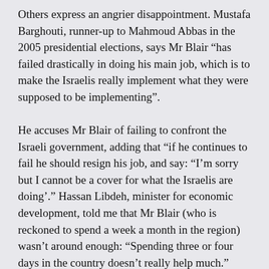Others express an angrier disappointment. Mustafa Barghouti, runner-up to Mahmoud Abbas in the 2005 presidential elections, says Mr Blair "has failed drastically in doing his main job, which is to make the Israelis really implement what they were supposed to be implementing".
He accuses Mr Blair of failing to confront the Israeli government, adding that "if he continues to fail he should resign his job, and say: 'I'm sorry but I cannot be a cover for what the Israelis are doing'." Hassan Libdeh, minister for economic development, told me that Mr Blair (who is reckoned to spend a week a month in the region) wasn't around enough: "Spending three or four days in the country doesn't really help much."
Even Saeb Erekat, the chief PLO negotiator and a man of famed diplomatic skills, was in despair. "Mr Blair...